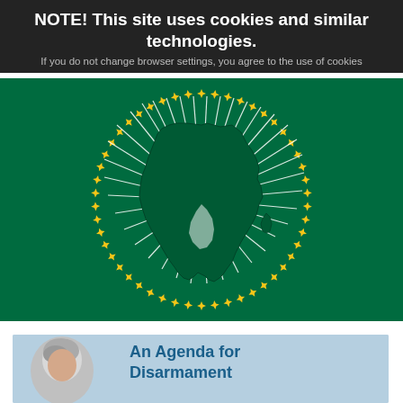NOTE! This site uses cookies and similar technologies.
If you do not change browser settings, you agree to the use of cookies
[Figure (logo): African Union logo: green background with white map of Africa surrounded by a ring of gold/yellow stars and white radiating lines]
[Figure (photo): Partial view of a person with grey/white hair against a light blue background]
An Agenda for Disarmament